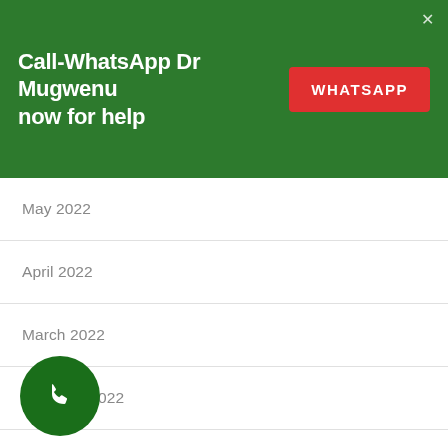July 2022
Call-WhatsApp Dr Mugwenu now for help
WHATSAPP
June 2022
May 2022
April 2022
March 2022
February 2022
January 2022
November 2021
October 2021
[Figure (illustration): Green circle phone icon button at bottom left]